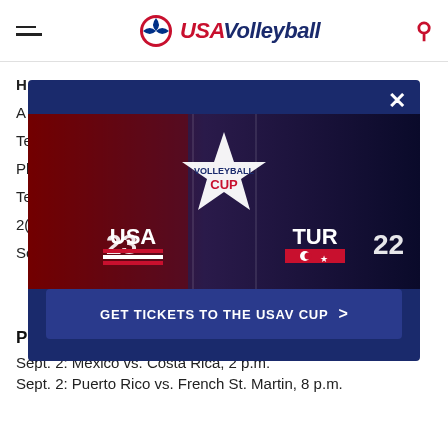USA Volleyball
[Figure (screenshot): USA Volleyball Cup promotional banner showing USA vs TUR (Turkey) volleyball match with two players and the USA CUP logo in the center on a dark background]
GET TICKETS TO THE USAV CUP >
Pool A
Sept. 2: Mexico vs. Costa Rica, 2 p.m.
Sept. 2: Puerto Rico vs. French St. Martin, 8 p.m.